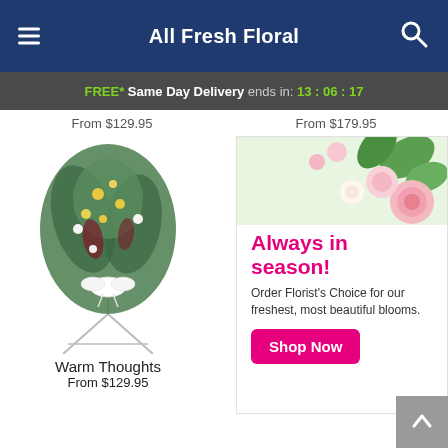All Fresh Floral
FREE* Same Day Delivery ends in: 13:06:17
From $129.95   From $179.95
[Figure (photo): Warm Thoughts funeral flower spray arrangement on a stand with yellow and white flowers and greenery]
Warm Thoughts
From $129.95
[Figure (infographic): Advertisement banner with pink flowers. Text: Always in season! Order Florist's Choice for our freshest, most beautiful blooms. Shop Now button.]